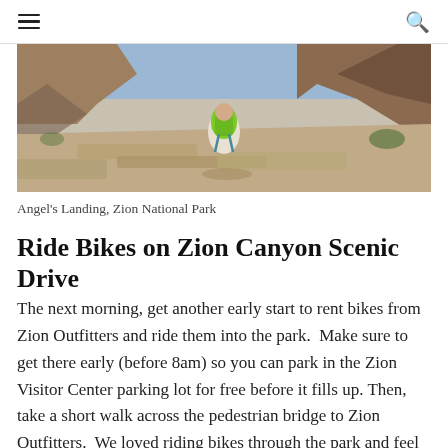≡  🔍
[Figure (photo): Hiker with green backpack sitting on large sandstone rocks at Angel's Landing, Zion National Park, with red canyon walls in the background under a blue sky.]
Angel's Landing, Zion National Park
Ride Bikes on Zion Canyon Scenic Drive
The next morning, get another early start to rent bikes from Zion Outfitters and ride them into the park.  Make sure to get there early (before 8am) so you can park in the Zion Visitor Center parking lot for free before it fills up. Then, take a short walk across the pedestrian bridge to Zion Outfitters.  We loved riding bikes through the park and feel it was a much better option than taking the